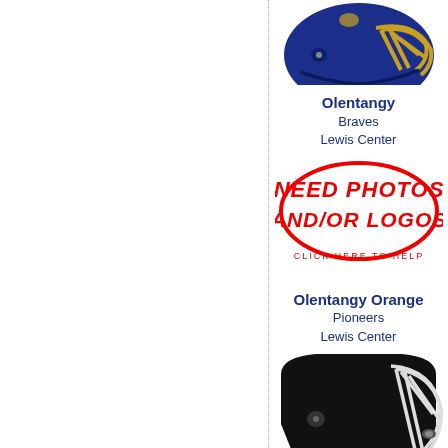[Figure (illustration): Blue and gold football helmet, top portion visible]
Olentangy
Braves
Lewis Center
[Figure (logo): Red distressed oval stamp reading NEED PHOTOS AND/OR LOGOS with CLICK HERE TO HELP below]
Olentangy Orange
Pioneers
Lewis Center
[Figure (illustration): Black football helmet, lower portion visible]